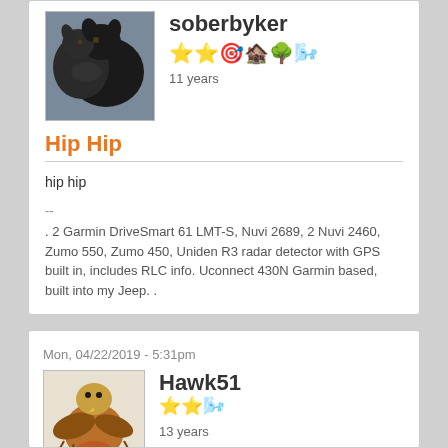[Figure (photo): Profile photo of soberbyker: two black dogs]
soberbyker
[Figure (other): Badge icons: two stars, GPS unit, red barn, bonsai tree, windmill]
11 years
Hip Hip
hip hip
--
. 2 Garmin DriveSmart 61 LMT-S, Nuvi 2689, 2 Nuvi 2460, Zumo 550, Zumo 450, Uniden R3 radar detector with GPS built in, includes RLC info. Uconnect 430N Garmin based, built into my Jeep. .
Mon, 04/22/2019 - 5:31pm
[Figure (photo): Profile photo of Hawk51: red-tailed hawk in flight]
Hawk51
[Figure (other): Badge icons: two stars, windmill]
13 years
Congrats!